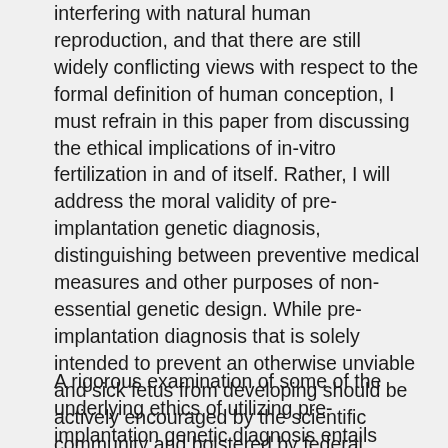interfering with natural human reproduction, and that there are still widely conflicting views with respect to the formal definition of human conception, I must refrain in this paper from discussing the ethical implications of in-vitro fertilization in and of itself. Rather, I will address the moral validity of pre-implantation genetic diagnosis, distinguishing between preventive medical measures and other purposes of non-essential genetic design. While pre-implantation diagnosis that is solely intended to prevent an otherwise unviable and sick fetus from developing should be actively encouraged by the scientific community and bolstered by federal funds, it should not be used as a vehicle for parents to create what they perceive to be the perfect child.
A rigorous examination of some of the underlying ethics of utilizing pre-implantation genetic diagnosis entails familiarity with its biological methodology. Traditionally